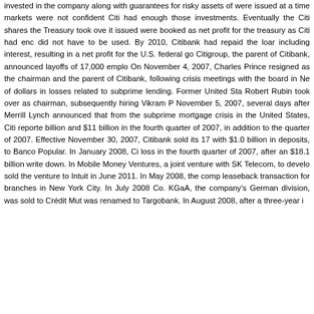invested in the company along with guarantees for risky assets of were issued at a time markets were not confident Citi had enough those investments. Eventually the Citi shares the Treasury took ove it issued were booked as net profit for the treasury as Citi had enc did not have to be used. By 2010, Citibank had repaid the loar including interest, resulting in a net profit for the U.S. federal go Citigroup, the parent of Citibank, announced layoffs of 17,000 emplo On November 4, 2007, Charles Prince resigned as the chairman and the parent of Citibank, following crisis meetings with the board in Ne of dollars in losses related to subprime lending. Former United Sta Robert Rubin took over as chairman, subsequently hiring Vikram P November 5, 2007, several days after Merrill Lynch announced that from the subprime mortgage crisis in the United States, Citi reporte billion and $11 billion in the fourth quarter of 2007, in addition to the quarter of 2007. Effective November 30, 2007, Citibank sold its 17 with $1.0 billion in deposits, to Banco Popular. In January 2008, Ci loss in the fourth quarter of 2007, after an $18.1 billion write down. In Mobile Money Ventures, a joint venture with SK Telecom, to develo sold the venture to Intuit in June 2011. In May 2008, the comp leaseback transaction for branches in New York City. In July 2008 Co. KGaA, the company's German division, was sold to Crédit Mut was renamed to Targobank. In August 2008, after a three-year i